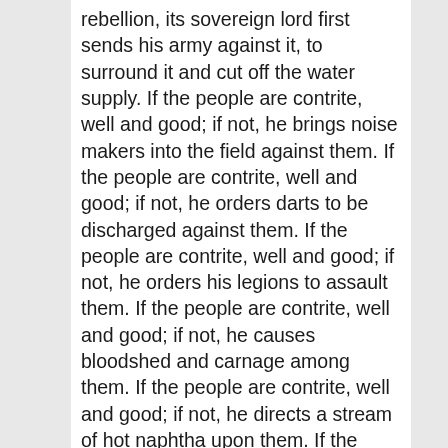rebellion, its sovereign lord first sends his army against it, to surround it and cut off the water supply. If the people are contrite, well and good; if not, he brings noise makers into the field against them. If the people are contrite, well and good; if not, he orders darts to be discharged against them. If the people are contrite, well and good; if not, he orders his legions to assault them. If the people are contrite, well and good; if not, he causes bloodshed and carnage among them. If the people are contrite, well and good; if not, he directs a stream of hot naphtha upon them. If the people are contrite, well and good; if not, he hurls projectiles at them from his ballistae. If the people are contrite, well and good; if not, he has scaling-ladders set up against their